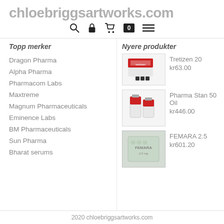chloebriggsartworks.com
Topp merker
Nyere produkter
Dragon Pharma
Alpha Pharma
Pharmacom Labs
Maxtreme
Magnum Pharmaceuticals
Eminence Labs
BM Pharmaceuticals
Sun Pharma
Bharat serums
[Figure (photo): Product image of Tretizen 20]
Tretizen 20
kr63.00
[Figure (photo): Product image of Pharma Stan 50 Oil]
Pharma Stan 50 Oil
kr446.00
[Figure (photo): Product image of FEMARA 2.5]
FEMARA 2.5
kr601.20
2020 chloebriggsartworks.com